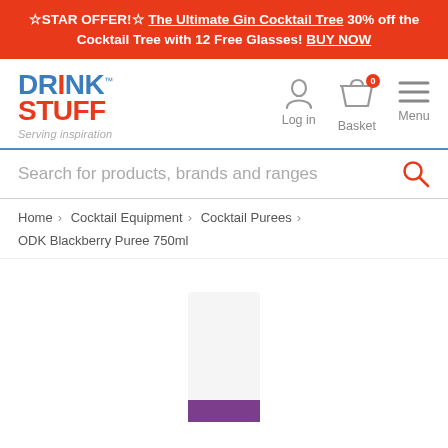☆STAR OFFER!☆ The Ultimate Gin Cocktail Tree 30% off the Cocktail Tree with 12 Free Glasses! BUY NOW
[Figure (logo): DrinkStuff logo with tagline 'Serving inspiration']
[Figure (infographic): Navigation icons: Log in (person icon), Basket with 0 items (cart icon), Menu (hamburger icon)]
Search for products, brands and ranges
Home > Cocktail Equipment > Cocktail Purees > ODK Blackberry Puree 750ml
[Figure (photo): ODK Blackberry Puree 750ml product bottle, white with purple label, partially visible at bottom of page]